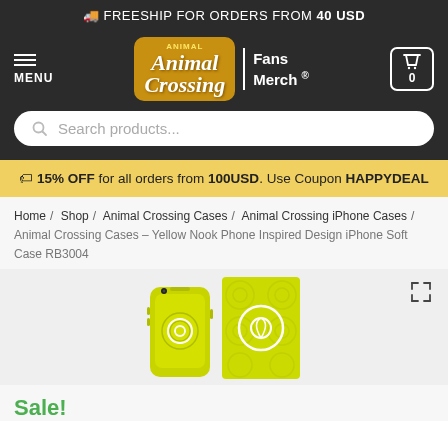🚚 FREESHIP FOR ORDERS FROM 40 USD
[Figure (logo): Animal Crossing Fans Merch logo with menu button and cart icon in dark navigation bar]
Search products...
🏷 15% OFF for all orders from 100USD. Use Coupon HAPPYDEAL
Home / Shop / Animal Crossing Cases / Animal Crossing iPhone Cases / Animal Crossing Cases – Yellow Nook Phone Inspired Design iPhone Soft Case RB3004
[Figure (photo): Yellow Nook Phone Inspired Design iPhone Soft Case product image showing phone case and back panel]
Sale!